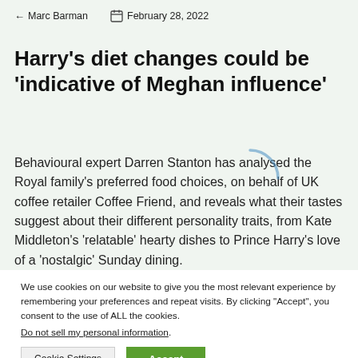← Marc Barman   February 28, 2022
Harry's diet changes could be 'indicative of Meghan influence'
Behavioural expert Darren Stanton has analysed the Royal family's preferred food choices, on behalf of UK coffee retailer Coffee Friend, and reveals what their tastes suggest about their different personality traits, from Kate Middleton's 'relatable' hearty dishes to Prince Harry's love of a 'nostalgic' Sunday dining.
He also comments on Harry's decision to ditch his love of junk foods for healthier alternatives now he's living in LA, stating: "Harry's change in diet could be indicative of Meghan's influence on him within their
We use cookies on our website to give you the most relevant experience by remembering your preferences and repeat visits. By clicking "Accept", you consent to the use of ALL the cookies.
Do not sell my personal information.